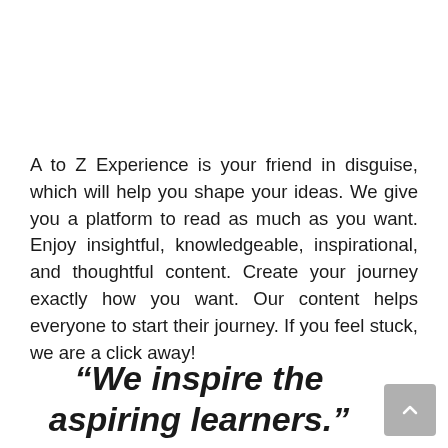A to Z Experience is your friend in disguise, which will help you shape your ideas. We give you a platform to read as much as you want. Enjoy insightful, knowledgeable, inspirational, and thoughtful content. Create your journey exactly how you want. Our content helps everyone to start their journey. If you feel stuck, we are a click away!
“We inspire the aspiring learners.”